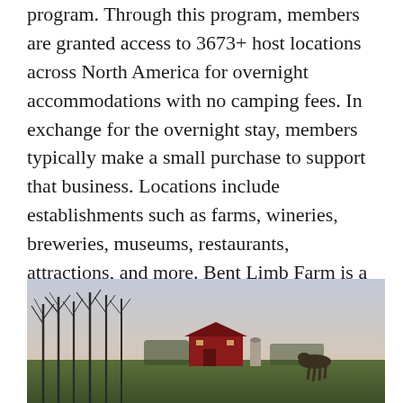program. Through this program, members are granted access to 3673+ host locations across North America for overnight accommodations with no camping fees. In exchange for the overnight stay, members typically make a small purchase to support that business. Locations include establishments such as farms, wineries, breweries, museums, restaurants, attractions, and more. Bent Limb Farm is a newer Host but has rave reviews. Continue on to learn all about the farm, the animals, the business today, and its joining of the Harvest Hosts program.
[Figure (photo): Outdoor farm scene at dusk showing a red barn in the background, bare trees along the left side, open field, and a warm orange-pink sky at the horizon.]